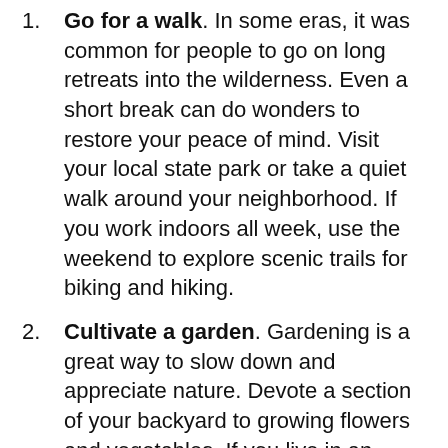1. Go for a walk. In some eras, it was common for people to go on long retreats into the wilderness. Even a short break can do wonders to restore your peace of mind. Visit your local state park or take a quiet walk around your neighborhood. If you work indoors all week, use the weekend to explore scenic trails for biking and hiking.
2. Cultivate a garden. Gardening is a great way to slow down and appreciate nature. Devote a section of your backyard to growing flowers and vegetables. If you live in an apartment setting, select plants that will flourish indoors or on a balcony, like some species of palm trees and herbs.
3. Spend time with animals. Spending time with animals